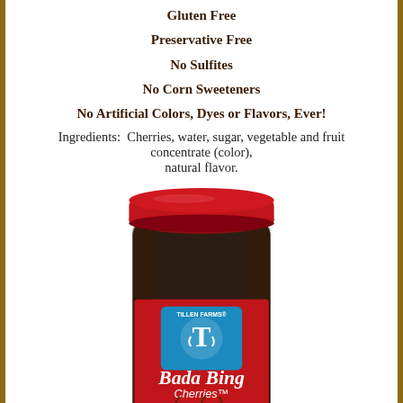Gluten Free
Preservative Free
No Sulfites
No Corn Sweeteners
No Artificial Colors, Dyes or Flavors, Ever!
Ingredients:  Cherries, water, sugar, vegetable and fruit concentrate (color), natural flavor.
[Figure (photo): A jar of Tillen Farms Bada Bing Cherries with a red lid and a red label featuring a teal Tillen Farms logo (T), with text 'Bada Bing Cherries', 'No Red Dye • Preservative Free', 'Fresh from the Pacific Northwest', and net weight 13.5 oz (383g). Dark cherries are visible through the glass jar.]